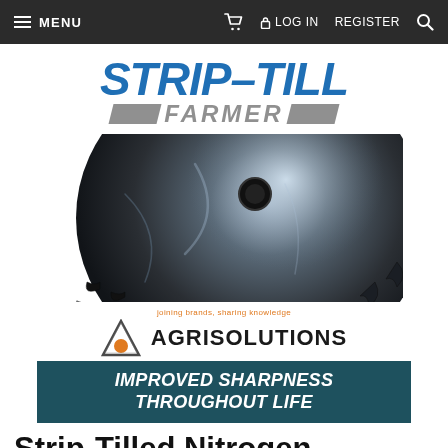MENU  [cart]  LOG IN  REGISTER  [search]
[Figure (logo): Strip-Till Farmer logo — bold blue italic 'STRIP-TILL' with gray italic 'FARMER' flanked by gray parallelogram bars]
[Figure (photo): Close-up photo of a dark circular agricultural strip-till disk blade showing serrated edge and metallic surface]
[Figure (infographic): Agrisolutions advertisement: triangle logo with orange circle, tagline 'joining brands, sharing knowledge', bold text 'AGRISOLUTIONS', and teal banner reading 'IMPROVED SHARPNESS THROUGHOUT LIFE']
Strip-Tilled Nitrogen